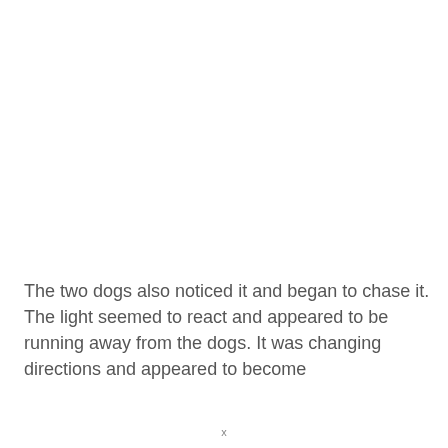The two dogs also noticed it and began to chase it. The light seemed to react and appeared to be running away from the dogs. It was changing directions and appeared to become
x